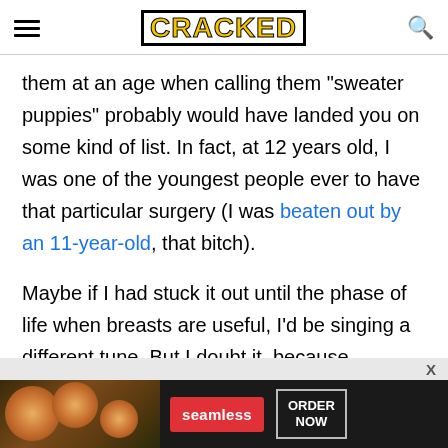CRACKED
them at an age when calling them "sweater puppies" probably would have landed you on some kind of list. In fact, at 12 years old, I was one of the youngest people ever to have that particular surgery (I was beaten out by an 11-year-old, that bitch).
Maybe if I had stuck it out until the phase of life when breasts are useful, I'd be singing a different tune. But I doubt it, because ...
[Figure (other): Seamless food delivery advertisement banner with pizza image, Seamless logo button, and ORDER NOW button]